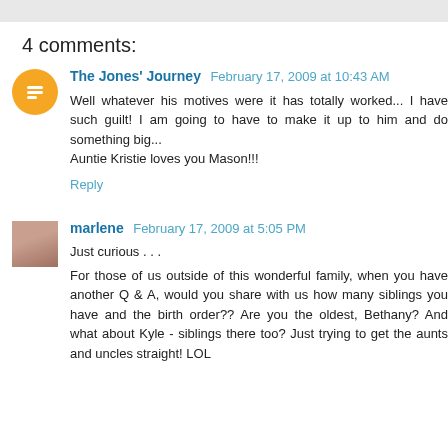4 comments:
The Jones' Journey  February 17, 2009 at 10:43 AM
Well whatever his motives were it has totally worked... I have such guilt! I am going to have to make it up to him and do something big...
Auntie Kristie loves you Mason!!!
Reply
marlene  February 17, 2009 at 5:05 PM
Just curious . . .

For those of us outside of this wonderful family, when you have another Q & A, would you share with us how many siblings you have and the birth order?? Are you the oldest, Bethany? And what about Kyle - siblings there too? Just trying to get the aunts and uncles straight! LOL